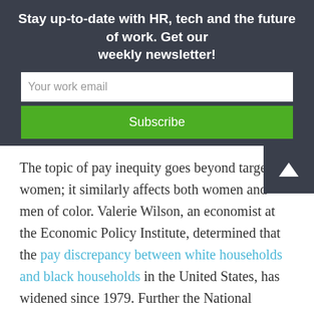Stay up-to-date with HR, tech and the future of work. Get our weekly newsletter!
Your work email
Subscribe
The topic of pay inequity goes beyond targeting women; it similarly affects both women and men of color. Valerie Wilson, an economist at the Economic Policy Institute, determined that the pay discrepancy between white households and black households in the United States, has widened since 1979. Further the National Women's Law Center found that the average Latin male and female employee would have to work 73 years longer to collect the same pay as their white male counterparts.
The National Bureau of Economic Research economists,